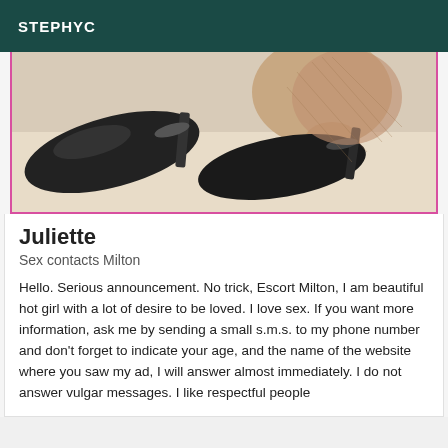STEPHYC
[Figure (photo): Close-up photo of a woman's feet wearing black high heel shoes with ankle straps, on a light beige background]
Juliette
Sex contacts Milton
Hello. Serious announcement. No trick, Escort Milton, I am beautiful hot girl with a lot of desire to be loved. I love sex. If you want more information, ask me by sending a small s.m.s. to my phone number and don't forget to indicate your age, and the name of the website where you saw my ad, I will answer almost immediately. I do not answer vulgar messages. I like respectful people